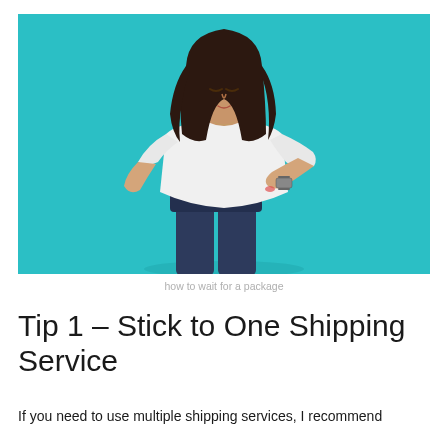[Figure (photo): Young woman with long dark hair wearing a white t-shirt and dark jeans, looking down at her wristwatch, standing against a teal/turquoise background.]
how to wait for a package
Tip 1 – Stick to One Shipping Service
If you need to use multiple shipping services, I recommend